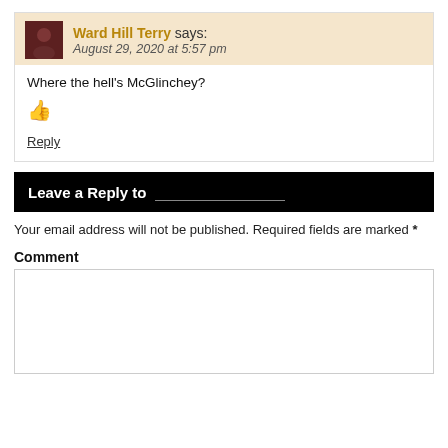Ward Hill Terry says: August 29, 2020 at 5:57 pm
Where the hell's McGlinchey?
👍
Reply
Leave a Reply to
Your email address will not be published. Required fields are marked *
Comment